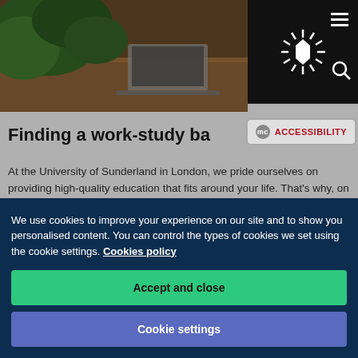[Figure (photo): Photo of a wooden desk with green plants/leaves and a laptop, in a study/office environment]
[Figure (logo): University of Sunderland starburst/sunburst logo in white on black background, with hamburger menu icon and search icon]
[Figure (other): Accessibility button with 'mc' badge and 'ACCESSIBILITY' text in red]
Finding a work-study ba
At the University of Sunderland in London, we pride ourselves on providing high-quality education that fits around your life. That's why, on average, you'll only have two days of classes each week – because
We use cookies to improve your experience on our site and to show you personalised content. You can control the types of cookies we set using the cookie settings. Cookies policy
Accept and close
Cookie settings